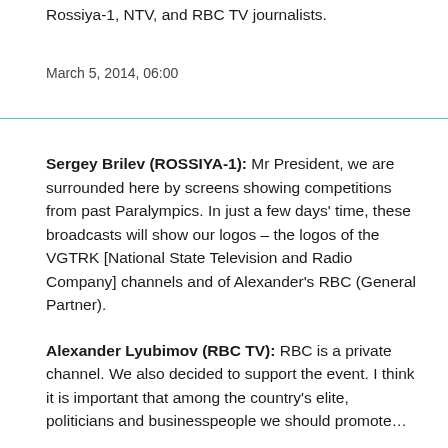Rossiya-1, NTV, and RBC TV journalists.
March 5, 2014, 06:00
Sergey Brilev (ROSSIYA-1): Mr President, we are surrounded here by screens showing competitions from past Paralympics. In just a few days' time, these broadcasts will show our logos – the logos of the VGTRK [National State Television and Radio Company] channels and of Alexander's RBC (General Partner).
Alexander Lyubimov (RBC TV): RBC is a private channel. We also decided to support the event. I think it is important that among the country's elite, politicians and businesspeople we should promote…